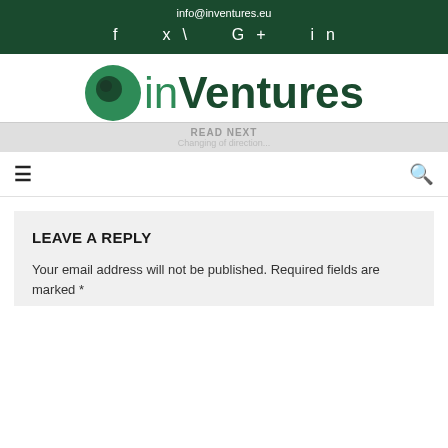info@inventures.eu
f  ✓  G+  in
[Figure (logo): inVentures logo with green circle and bold dark green text]
READ NEXT
Changing of direction...
LEAVE A REPLY
Your email address will not be published. Required fields are marked *